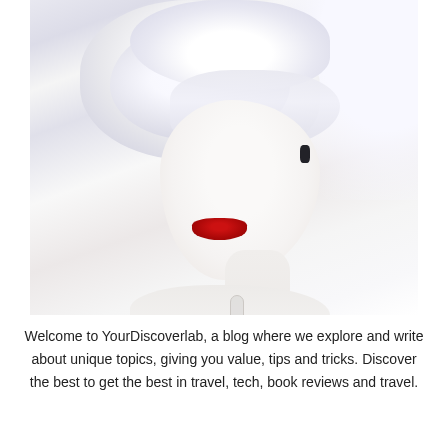[Figure (photo): Fashion/beauty photo of a pale-skinned woman with white/silver upswept hair covering her eyes, bright red lips, bare shoulders, against a light background. Artistic high-fashion style.]
Welcome to YourDiscoverlab, a blog where we explore and write about unique topics, giving you value, tips and tricks. Discover the best to get the best in travel, tech, book reviews and travel.